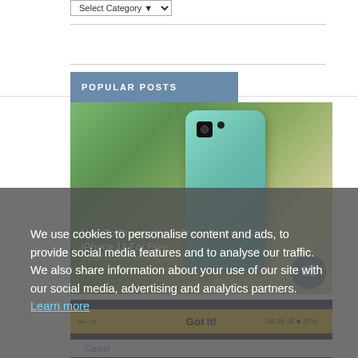[Figure (screenshot): Select Category dropdown widget at top of sidebar]
POPULAR POSTS
[Figure (photo): Back of a teal/green iPhone 11 held outdoors with blurred garden background. Post title 'How To Change Your Phone Number On iPhone 11 For Free' overlaid with date 'POSTED ON MAY 5, 2020' and circular badge numbered 01.]
[Figure (screenshot): iPhone screenshot showing 'Got it!' yellow top bar with status bar showing 18:28 time and 37% battery, with Cancel option below.]
We use cookies to personalise content and ads, to provide social media features and to analyse our traffic. We also share information about your use of our site with our social media, advertising and analytics partners.  Learn more